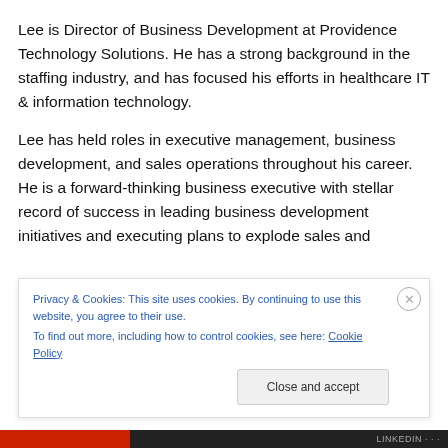Lee is Director of Business Development at Providence Technology Solutions. He has a strong background in the staffing industry, and has focused his efforts in healthcare IT & information technology.
Lee has held roles in executive management, business development, and sales operations throughout his career.  He is a forward-thinking business executive with stellar record of success in leading business development initiatives and executing plans to explode sales and
Privacy & Cookies: This site uses cookies. By continuing to use this website, you agree to their use.
To find out more, including how to control cookies, see here: Cookie Policy
Close and accept